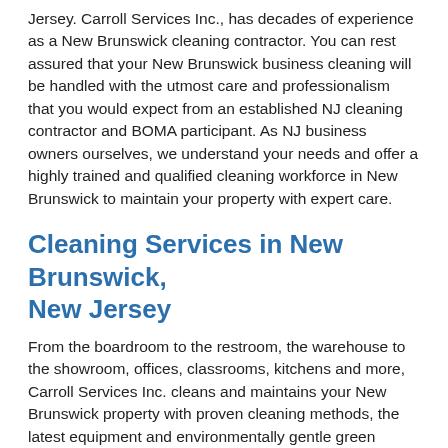Jersey. Carroll Services Inc., has decades of experience as a New Brunswick cleaning contractor. You can rest assured that your New Brunswick business cleaning will be handled with the utmost care and professionalism that you would expect from an established NJ cleaning contractor and BOMA participant. As NJ business owners ourselves, we understand your needs and offer a highly trained and qualified cleaning workforce in New Brunswick to maintain your property with expert care.
Cleaning Services in New Brunswick, New Jersey
From the boardroom to the restroom, the warehouse to the showroom, offices, classrooms, kitchens and more, Carroll Services Inc. cleans and maintains your New Brunswick property with proven cleaning methods, the latest equipment and environmentally gentle green cleaning materials. We provide safe and efficient New Brunswick lighting maintenance services for those hard to reach fixtures in your facility. Carroll Services Inc. also provides New Brunswick carpet cleaning,